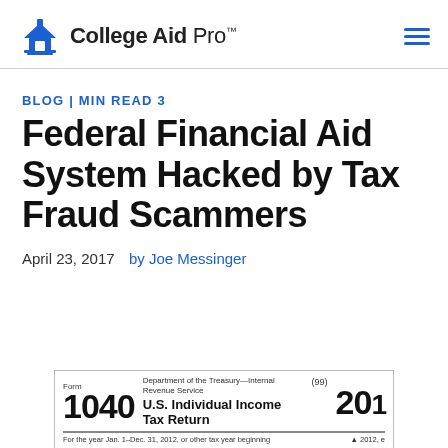College Aid Pro™
BLOG | MIN READ 3
Federal Financial Aid System Hacked by Tax Fraud Scammers
April 23, 2017  by Joe Messinger
[Figure (photo): Partial image of IRS Form 1040 U.S. Individual Income Tax Return for 2012, showing the form number 1040 and year 201 partially visible.]